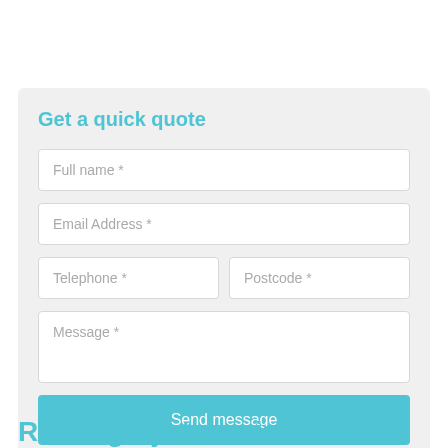Get a quick quote
Full name *
Email Address *
Telephone *
Postcode *
Message *
Send message
Roofing Systems in Dorset